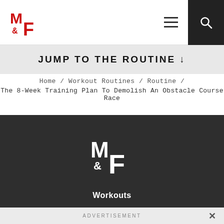M&F logo with hamburger menu and search icon navigation bar
JUMP TO THE ROUTINE ↓
Home / Workout Routines / Routine / The 8-Week Training Plan To Demolish An Obstacle Course Race
[Figure (logo): Muscle & Fitness M&F logo in white on dark background with 'Workouts' label below]
ADVERTISEMENT ×